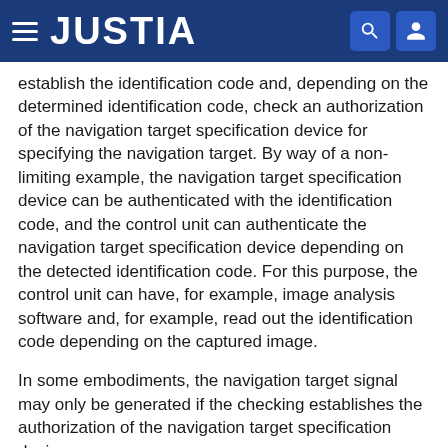JUSTIA
establish the identification code and, depending on the determined identification code, check an authorization of the navigation target specification device for specifying the navigation target. By way of a non-limiting example, the navigation target specification device can be authenticated with the identification code, and the control unit can authenticate the navigation target specification device depending on the detected identification code. For this purpose, the control unit can have, for example, image analysis software and, for example, read out the identification code depending on the captured image.
In some embodiments, the navigation target signal may only be generated if the checking establishes the authorization of the navigation target specification device.